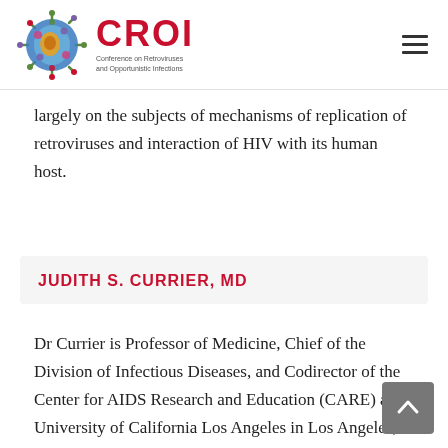CROI – Conference on Retroviruses and Opportunistic Infections
largely on the subjects of mechanisms of replication of retroviruses and interaction of HIV with its human host.
JUDITH S. CURRIER, MD
Dr Currier is Professor of Medicine, Chief of the Division of Infectious Diseases, and Codirector of the Center for AIDS Research and Education (CARE) at University of California Los Angeles in Los Angeles, California. She is Vice Chair of the NIH-sponsored ACTG. Her research has focused on long-term complications of HIV disease with an emphasis on sex